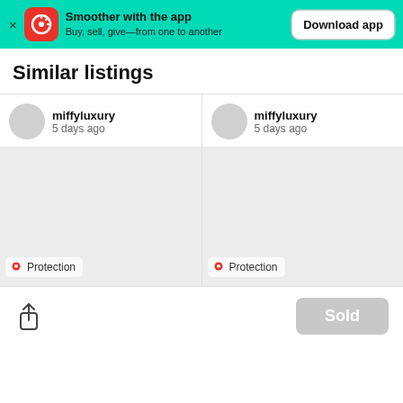Smoother with the app — Buy, sell, give—from one to another — Download app
Similar listings
miffyluxury
5 days ago
[Figure (photo): Blank listing image placeholder with Protection badge]
miffyluxury
5 days ago
[Figure (photo): Blank listing image placeholder with Protection badge]
Sold